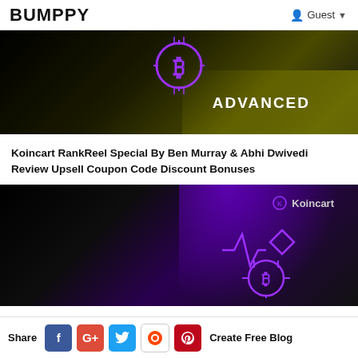BUMPPY  Guest
[Figure (screenshot): Dark background image with glowing purple Bitcoin symbol at top center and 'ADVANCED' text in white at lower right, with yellow-green gradient at bottom right corner]
Koincart RankReel Special By Ben Murray & Abhi Dwivedi Review Upsell Coupon Code Discount Bonuses
[Figure (screenshot): Dark background image with purple glow, showing Koincart branding and purple neon icon with Bitcoin symbol in center]
Share  f  G+  t  [reddit]  [pinterest]  Create Free Blog